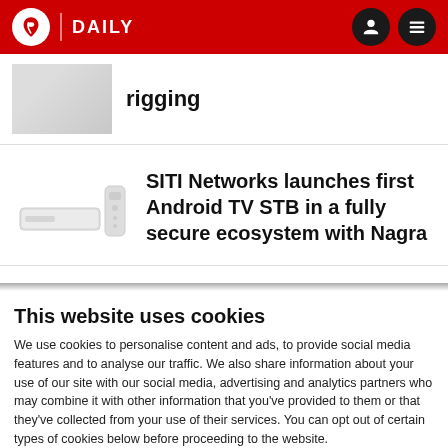DAILY
rigging
SITI Networks launches first Android TV STB in a fully secure ecosystem with Nagra
This website uses cookies
We use cookies to personalise content and ads, to provide social media features and to analyse our traffic. We also share information about your use of our site with our social media, advertising and analytics partners who may combine it with other information that you've provided to them or that they've collected from your use of their services. You can opt out of certain types of cookies below before proceeding to the website.
Use necessary cookies only
Allow all cookies
Show details